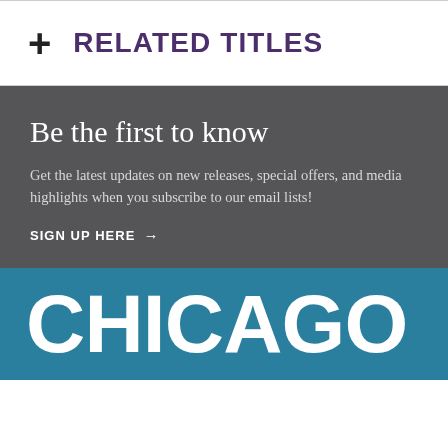+ RELATED TITLES
Be the first to know
Get the latest updates on new releases, special offers, and media highlights when you subscribe to our email lists!
SIGN UP HERE →
CHICAGO